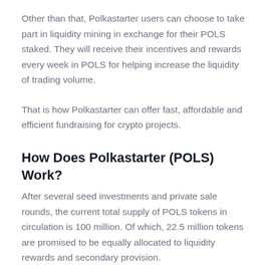Other than that, Polkastarter users can choose to take part in liquidity mining in exchange for their POLS staked. They will receive their incentives and rewards every week in POLS for helping increase the liquidity of trading volume.
That is how Polkastarter can offer fast, affordable and efficient fundraising for crypto projects.
How Does Polkastarter (POLS) Work?
After several seed investments and private sale rounds, the current total supply of POLS tokens in circulation is 100 million. Of which, 22.5 million tokens are promised to be equally allocated to liquidity rewards and secondary provision.
To own POLS tokens, crypto traders can buy directly from POLS listing exchanges or Uniswap, or gain their tokens by